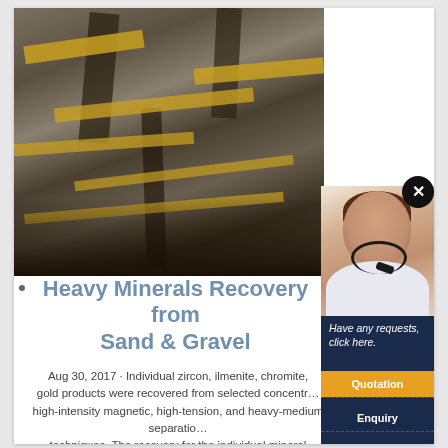[Figure (photo): Aerial view of industrial heavy minerals processing plant with conveyor belts and machinery, yellow structural elements visible]
[Figure (photo): Customer service representative woman wearing headset smiling, with Have any requests click here text, Quotation button, Enquiry button, and limingjlmofen@sina.com contact info on dark navy sidebar]
Heavy Minerals Recovery from Sand & Gravel
Aug 30, 2017 · Individual zircon, ilmenite, chromite, gold products were recovered from selected concentr... high-intensity magnetic, high-tension, and heavy-medium separatio… techniques. The recovery for the individual mineral products ranged...